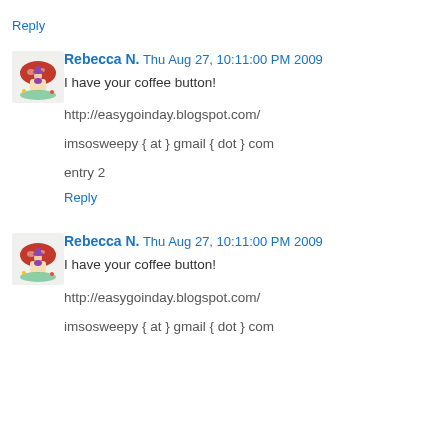Reply
[Figure (illustration): Avatar image of a fairy/gnome character sitting near a red mushroom]
Rebecca N.  Thu Aug 27, 10:11:00 PM 2009
I have your coffee button!
http://easygoinday.blogspot.com/
imsosweepy { at } gmail { dot } com
entry 2
Reply
[Figure (illustration): Avatar image of a fairy/gnome character sitting near a red mushroom]
Rebecca N.  Thu Aug 27, 10:11:00 PM 2009
I have your coffee button!
http://easygoinday.blogspot.com/
imsosweepy { at } gmail { dot } com